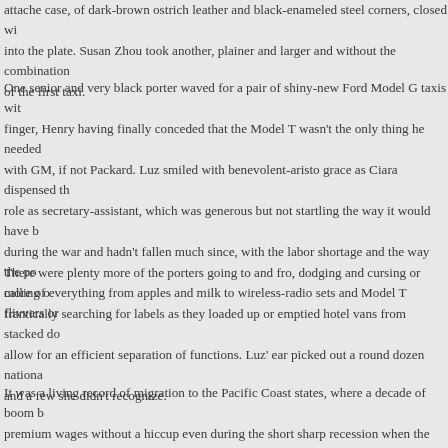attache case, of dark-brown ostrich leather and black-enameled steel corners, closed wi... into the plate. Susan Zhou took another, plainer and larger and without the combination of the first taxi.
One senior and very black porter waved for a pair of shiny-new Ford Model G taxis wit... finger, Henry having finally conceded that the Model T wasn't the only thing he needed... with GM, if not Packard. Luz smiled with benevolent-aristo grace as Ciara dispensed th... role as secretary-assistant, which was generous but not startling the way it would have b... during the war and hadn't fallen much since, with the labor shortage and the way the po... more of everything from apples and milk to wireless-radio sets and Model T flivvers or...
There were plenty more of the porters going to and fro, dodging and cursing or calling c... frantically searching for labels as they loaded up or emptied hotel vans from stacked do... allow for an efficient separation of functions. Luz' ear picked out a round dozen nationa... and a few she didn't recognize.
It was a living record of migration to the Pacific Coast states, where a decade of boom b... premium wages without a hiccup even during the short sharp recession when the Armis... into the jobs pool… though the notoriously high housing prices here ate some of that an... commuted by ferry across the Bay every day. Plus it was policy to encourage immigran... away from crowding… and away from the German bombardment ships and U-boats, bo... with V-gas and prowling constantly just outside the new twelve-mile territorial limit.